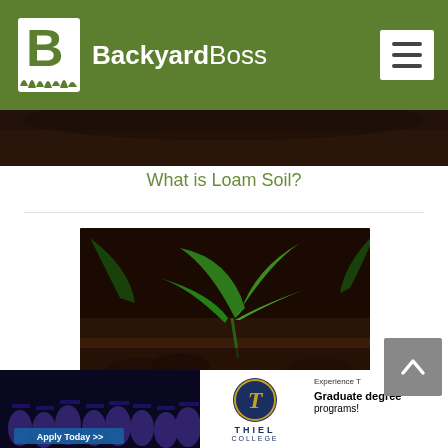BackyardBoss
[Figure (photo): Partial view of soil/gardening photo at top of article card]
What is Loam Soil?
[Figure (photo): Close-up photo of green seedling sprouting from dark soil]
How To Improve Your Soil's Drainage
[Figure (photo): Advertisement banner for Thiel College graduate degree programs with graduation photo]